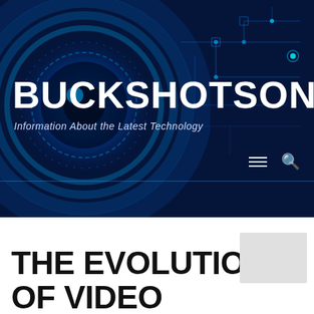[Figure (screenshot): Website header banner for BUCKSHOTSONNYS technology blog. Dark navy blue background with a glowing blue eye/circuit-board graphic on the left and blue circuit trace patterns on the right.]
BUCKSHOTSONNYS
Information About the Latest Technology
THE EVOLUTION OF VIDEO